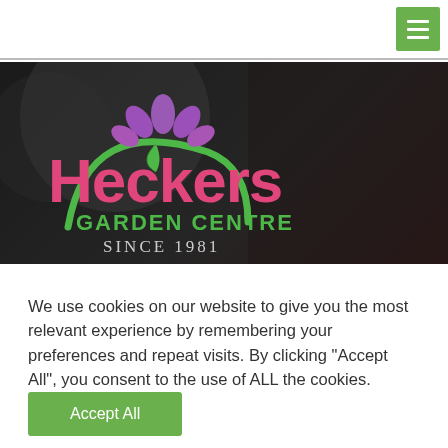Heckers Garden Centre navigation bar with hamburger menu
[Figure (screenshot): Heckers Garden Centre hero banner with logo on dark background. Logo shows a purple flower, green leaf, pink 'Heckers' text, green 'GARDEN CENTRE' text, and 'SINCE 1981' text with a green circular arc.]
We use cookies on our website to give you the most relevant experience by remembering your preferences and repeat visits. By clicking "Accept All", you consent to the use of ALL the cookies.
Accept All